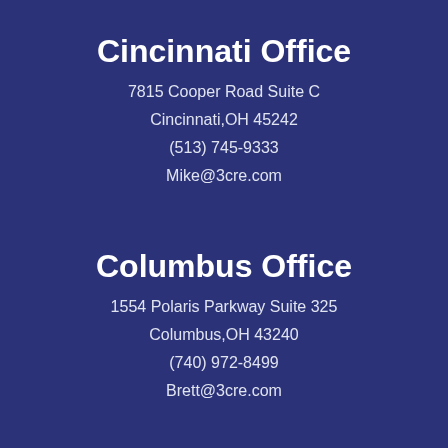Cincinnati Office
7815 Cooper Road Suite C
Cincinnati,OH 45242
(513) 745-9333
Mike@3cre.com
Columbus Office
1554 Polaris Parkway Suite 325
Columbus,OH 43240
(740) 972-8499
Brett@3cre.com